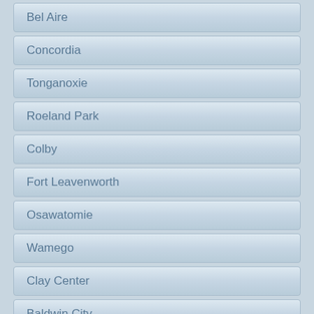Bel Aire
Concordia
Tonganoxie
Roeland Park
Colby
Fort Leavenworth
Osawatomie
Wamego
Clay Center
Baldwin City
Goodland
Spring Hill
Rose Hill